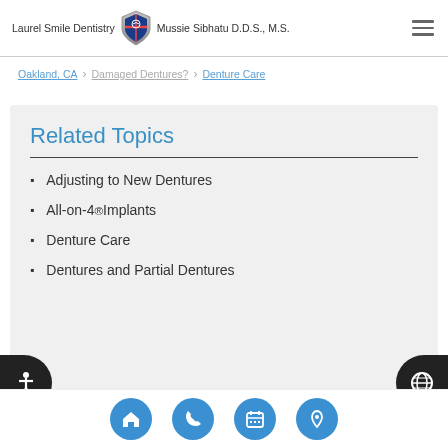Laurel Smile Dentistry | Mussie Sibhatu D.D.S., M.S.
Oakland, CA > Damaged Dentures? > Denture Care
Related Topics
Adjusting to New Dentures
All-on-4® Implants
Denture Care
Dentures and Partial Dentures